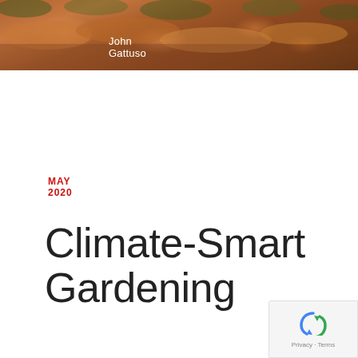[Figure (photo): Close-up photo of harvested carrots/root vegetables with green tops, brownish-orange tones]
John Gattuso
MAY 2020
Climate-Smart Gardening
These simple techniques can help you reduce emissions, conserve water, and store more carbon in plants and soil.
DOWNLOAD PDF